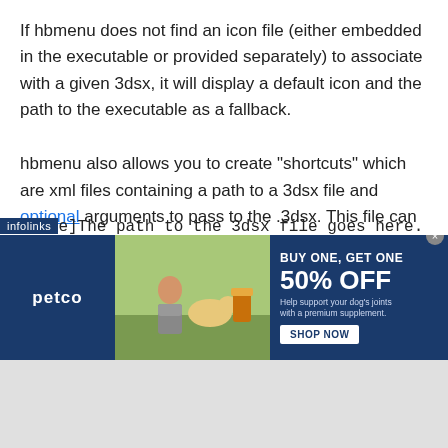If hbmenu does not find an icon file (either embedded in the executable or provided separately) to associate with a given 3dsx, it will display a default icon and the path to the executable as a fallback.
hbmenu also allows you to create "shortcuts" which are xml files containing a path to a 3dsx file and optional arguments to pass to the .3dsx. This file can also include a path to icon data as well as name, description and author text using tags as follows:
```
[shortcut]
table]The path to the 3dsx file goes here.
[Figure (screenshot): Petco advertisement banner: BUY ONE, GET ONE 50% OFF - Help support your dog's joints with a premium supplement. SHOP NOW button. infolinks badge visible. Close button (x) in top right.]